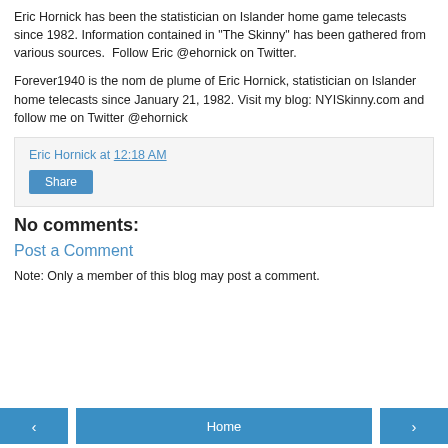Eric Hornick has been the statistician on Islander home game telecasts since 1982. Information contained in "The Skinny" has been gathered from various sources.  Follow Eric @ehornick on Twitter.
Forever1940 is the nom de plume of Eric Hornick, statistician on Islander home telecasts since January 21, 1982. Visit my blog: NYISkinny.com and follow me on Twitter @ehornick
Eric Hornick at 12:18 AM
Share
No comments:
Post a Comment
Note: Only a member of this blog may post a comment.
< Home >